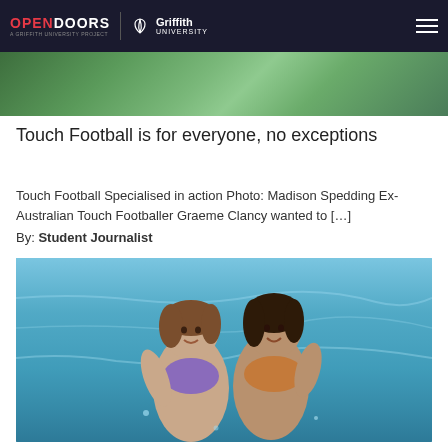OPEN DOORS — A Griffith University Project | Griffith University
[Figure (photo): Green outdoor photo strip at the top of the article card]
Touch Football is for everyone, no exceptions
Touch Football Specialised in action Photo: Madison Spedding Ex-Australian Touch Footballer Graeme Clancy wanted to […]
By: Student Journalist
[Figure (photo): Two young girls smiling in a swimming pool, wet hair, one wearing a purple swimsuit]